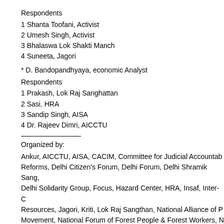Respondents
1 Shanta Toofani, Activist
2 Umesh Singh, Activist
3 Bhalaswa Lok Shakti Manch
4 Suneeta, Jagori
* D. Bandopandhyaya, economic Analyst
Respondents
1 Prakash, Lok Raj Sanghattan
2 Sasi, HRA
3 Sandip Singh, AISA
4 Dr. Rajeev Dimri, AICCTU
Organized by:
Ankur, AICCTU, AISA, CACIM, Committee for Judicial Accountability and Reforms, Delhi Citizen's Forum, Delhi Forum, Delhi Shramik Sang, Delhi Solidarity Group, Focus, Hazard Center, HRA, Insaf, Inter-C Resources, Jagori, Kriti, Lok Raj Sangthan, National Alliance of P Movement, National Forum of Forest People & Forest Workers, N Socialist Initiative, New Trade Union Initiative, Nirantar, Nirman M Panchayat Sangam, PEACE, PUCL, PUDR, Saheli